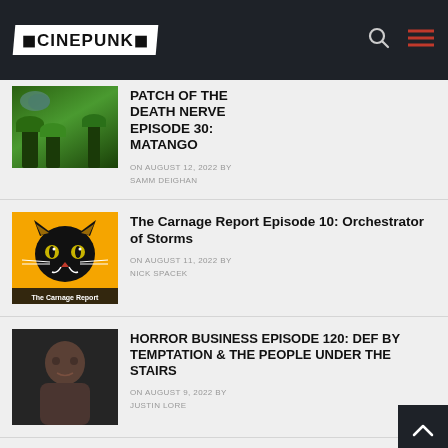CINEPUNK
PATCH OF THE DEATH NERVE EPISODE 30: MATANGO — ON AUGUST 12, 2022 BY SAMM DEIGHAN
The Carnage Report Episode 10: Orchestrator of Storms — ON AUGUST 11, 2022 BY NICK SPACEK
HORROR BUSINESS Episode 120: DEF BY TEMPTATION & THE PEOPLE UNDER THE STAIRS — ON AUGUST 9, 2022 BY JUSTIN LORE
Cinema Smorgasbord (partial)